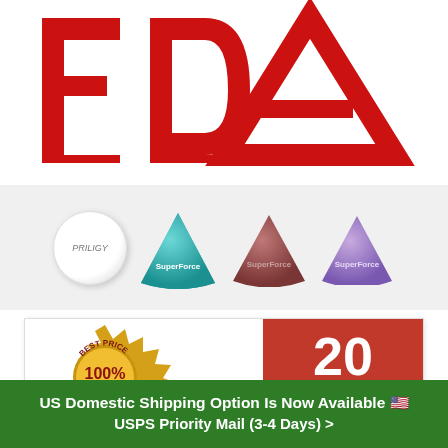[Figure (logo): FDA logo in large red letters with horizontal bar beneath, on white background]
[Figure (photo): Four pharmaceutical pill/tablet images: white round PRILIGY pill, teal triangular SuperForce pill, brown/red triangular SuperForce pill, purple triangular SuperForce pill, on light grey background]
[Figure (infographic): Best Price 100% Guarantee gold badge/seal on left; red rectangle with large white text '20 PILLS' on right]
US Domestic Shipping Option Is Now Available 🇺🇸 USPS Priority Mail (3-4 Days) >